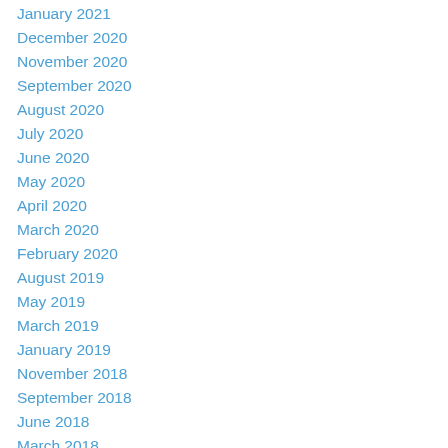January 2021
December 2020
November 2020
September 2020
August 2020
July 2020
June 2020
May 2020
April 2020
March 2020
February 2020
August 2019
May 2019
March 2019
January 2019
November 2018
September 2018
June 2018
March 2018
February 2018